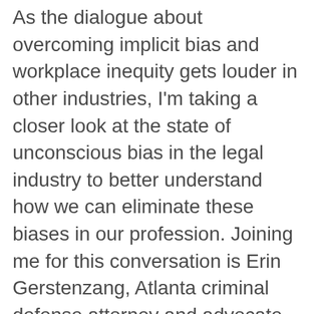As the dialogue about overcoming implicit bias and workplace inequity gets louder in other industries, I'm taking a closer look at the state of unconscious bias in the legal industry to better understand how we can eliminate these biases in our profession. Joining me for this conversation is Erin Gerstenzang, Atlanta criminal defense attorney and advocate for the advancement of women in the law.
Erin and I explore how unconscious bias presents itself in law firms and other workplace settings and what we, as lawyers, can be doing to become better allies and help eliminate workplace…